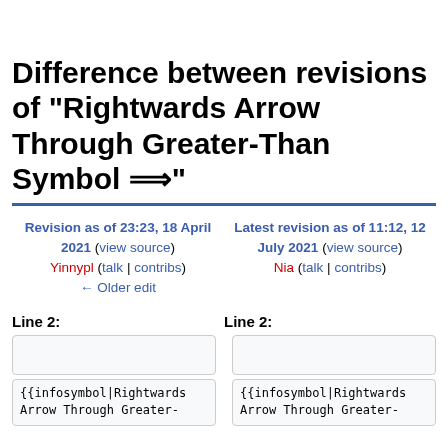Difference between revisions of "Rightwards Arrow Through Greater-Than Symbol ⟹"
Revision as of 23:23, 18 April 2021 (view source)
Yinnypl (talk | contribs)
← Older edit
Latest revision as of 11:12, 12 July 2021 (view source)
Nia (talk | contribs)
Line 2:
Line 2:
{{infosymbol|Rightwards Arrow Through Greater-
{{infosymbol|Rightwards Arrow Through Greater-